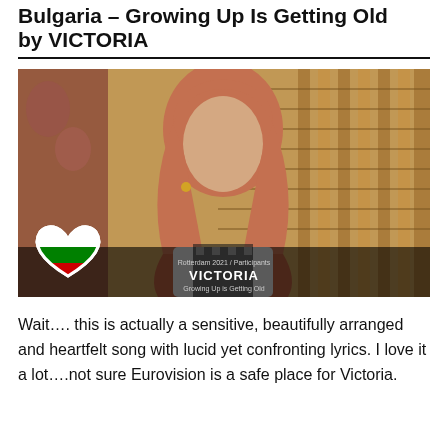Bulgaria – Growing Up Is Getting Old by VICTORIA
[Figure (photo): Photo of Victoria, Bulgarian Eurovision participant, wearing a houndstooth black-and-white outfit with long auburn hair, seated against wooden blinds background. A heart-shaped Bulgarian flag icon is in the bottom-left. Bottom overlay text reads: Rotterdam 2021 / Participants, VICTORIA, Growing Up is Getting Old.]
Wait…. this is actually a sensitive, beautifully arranged and heartfelt song with lucid yet confronting lyrics. I love it a lot….not sure Eurovision is a safe place for Victoria.